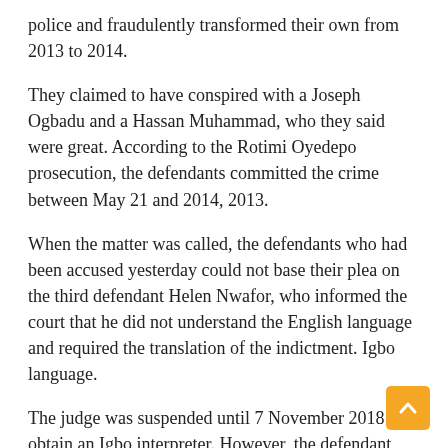police and fraudulently transformed their own from 2013 to 2014.
They claimed to have conspired with a Joseph Ogbadu and a Hassan Muhammad, who they said were great. According to the Rotimi Oyedepo prosecution, the defendants committed the crime between May 21 and 2014, 2013.
When the matter was called, the defendants who had been accused yesterday could not base their plea on the third defendant Helen Nwafor, who informed the court that he did not understand the English language and required the translation of the indictment. Igbo language.
The judge was suspended until 7 November 2018 to obtain an Igbo interpreter. However, the defendant lawyer, A.O. Osinfowora appealed to the court that defendants should be returned to the EFCC's arrest, but the judge rejected the